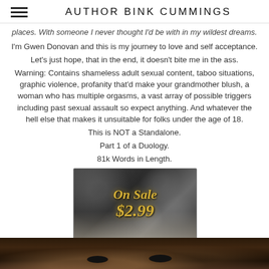AUTHOR BINK CUMMINGS
places. With someone I never thought I'd be with in my wildest dreams.
I'm Gwen Donovan and this is my journey to love and self acceptance.
Let's just hope, that in the end, it doesn't bite me in the ass.
Warning: Contains shameless adult sexual content, taboo situations, graphic violence, profanity that'd make your grandmother blush, a woman who has multiple orgasms, a vast array of possible triggers including past sexual assault so expect anything. And whatever the hell else that makes it unsuitable for folks under the age of 18.
This is NOT a Standalone.
Part 1 of a Duology.
81k Words in Length.
[Figure (other): Promotional banner image showing 'On Sale $2.99' text in gold italic script on a dark bokeh background with book pages visible at bottom]
[Figure (photo): Close-up photo of a person's face with intense eyes, dark moody lighting in brown and dark tones]